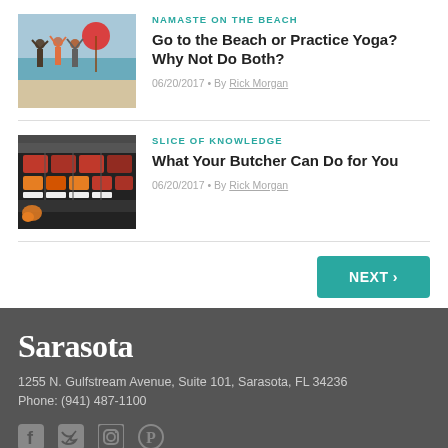[Figure (photo): People practicing yoga on the beach with arms raised]
NAMASTE ON THE BEACH
Go to the Beach or Practice Yoga? Why Not Do Both?
06/20/2017 • By Rick Morgan
[Figure (photo): Meat display case at a butcher shop with various cuts]
SLICE OF KNOWLEDGE
What Your Butcher Can Do for You
06/20/2017 • By Rick Morgan
NEXT ›
Sarasota
1255 N. Gulfstream Avenue, Suite 101, Sarasota, FL 34236
Phone: (941) 487-1100